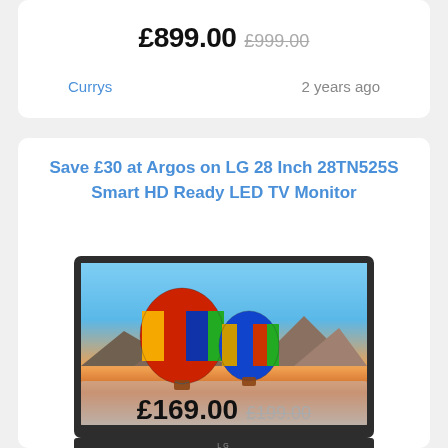£899.00 £999.00
Currys   2 years ago
Save £30 at Argos on LG 28 Inch 28TN525S Smart HD Ready LED TV Monitor
[Figure (photo): LG 28 Inch LED TV Monitor with dark frame showing two hot air balloons against a sunset/mountain landscape on screen]
£169.00 £199.00